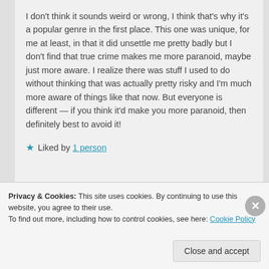I don't think it sounds weird or wrong, I think that's why it's a popular genre in the first place. This one was unique, for me at least, in that it did unsettle me pretty badly but I don't find that true crime makes me more paranoid, maybe just more aware. I realize there was stuff I used to do without thinking that was actually pretty risky and I'm much more aware of things like that now. But everyone is different — if you think it'd make you more paranoid, then definitely best to avoid it!
★ Liked by 1 person
Privacy & Cookies: This site uses cookies. By continuing to use this website, you agree to their use.
To find out more, including how to control cookies, see here: Cookie Policy
Close and accept